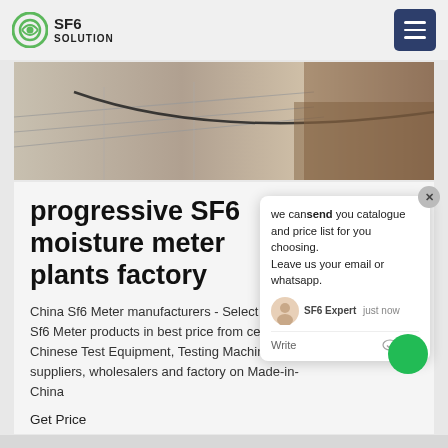SF6 SOLUTION
[Figure (photo): Outdoor ground surface photo showing concrete/gravel and soil]
progressive SF6 moisture meter plants factory
China Sf6 Meter manufacturers - Select high quality Sf6 Meter products in best price from certified Chinese Test Equipment, Testing Machine suppliers, wholesalers and factory on Made-in-China
Get Price
[Figure (screenshot): Chat popup window with message: we cansend you catalogue and price list for you choosing. Leave us your email or whatsapp. SF6 Expert just now. Write (with like and attachment icons).]